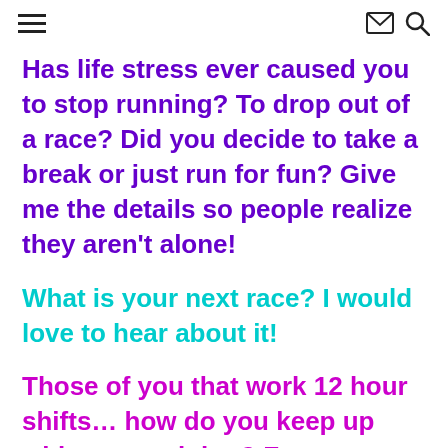menu, mail, search icons
Has life stress ever caused you to stop running?  To drop out of a race?  Did you decide to take a break or just run for fun?  Give me the details so people realize they aren't alone!
What is your next race?  I would love to hear about it!
Those of you that work 12 hour shifts… how do you keep up with your training?  Focus on your days off or get in a run before or after your shift?